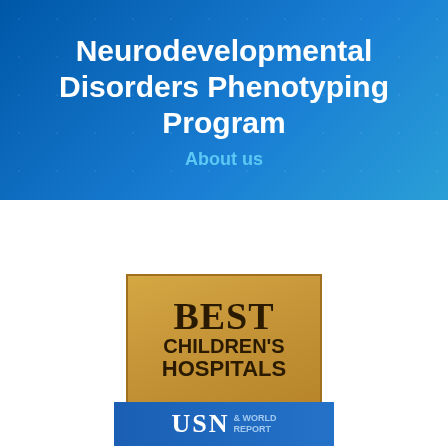Neurodevelopmental Disorders Phenotyping Program
About us
Lab Menu
[Figure (logo): Best Children's Hospitals badge with gold background showing 'BEST CHILDREN'S HOSPITALS' text and a blue banner at the bottom with 'USN & WORLD REPORT']